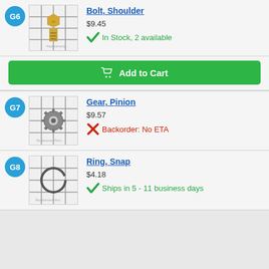[Figure (photo): Product photo of Bolt, Shoulder on grid background, labeled G6]
Bolt, Shoulder
$9.45
In Stock, 2 available
Add to Cart
[Figure (photo): Product photo of Gear, Pinion on grid background, labeled G7]
Gear, Pinion
$9.57
Backorder: No ETA
[Figure (photo): Product photo of Ring, Snap on grid background, labeled G8]
Ring, Snap
$4.18
Ships in 5 - 11 business days